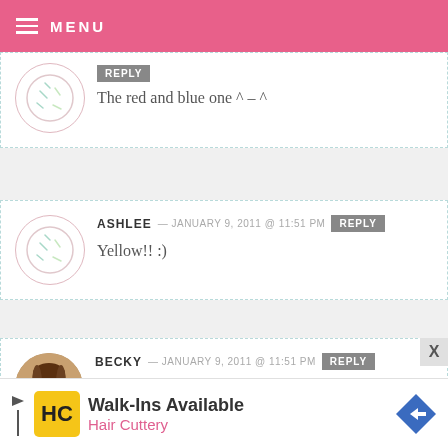MENU
The red and blue one ^ – ^
ASHLEE — JANUARY 9, 2011 @ 11:51 PM REPLY
Yellow!! :)
BECKY — JANUARY 9, 2011 @ 11:51 PM REPLY
Yellow!!!! :)
[Figure (infographic): Walk-Ins Available - Hair Cuttery advertisement banner with yellow HC logo and blue diamond arrow]